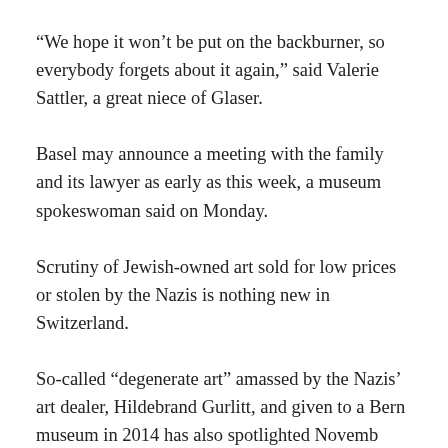“We hope it won’t be put on the backburner, so everybody forgets about it again,” said Valerie Sattler, a great niece of Glaser.
Basel may announce a meeting with the family and its lawyer as early as this week, a museum spokeswoman said on Monday.
Scrutiny of Jewish-owned art sold for low prices or stolen by the Nazis is nothing new in Switzerland.
So-called “degenerate art” amassed by the Nazis’ art dealer, Hildebrand Gurlitt, and given to a Bern museum in 2014 has also sparked scrutiny. November...